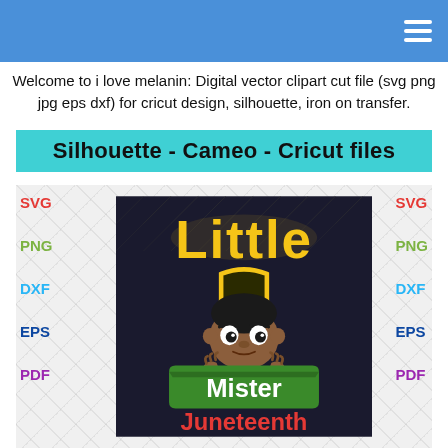Welcome to i love melanin: Digital vector clipart cut file (svg png jpg eps dxf) for cricut design, silhouette, iron on transfer.
Silhouette - Cameo - Cricut files
[Figure (illustration): Product listing image showing a cartoon Black boy peeking over a sign with text 'Little Mister Juneteenth' on a dark geometric pattern background, with SVG, PNG, DXF, EPS, PDF format labels on both sides]